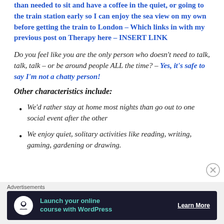than needed to sit and have a coffee in the quiet, or going to the train station early so I can enjoy the sea view on my own before getting the train to London – Which links in with my previous post on Therapy here – INSERT LINK
Do you feel like you are the only person who doesn't need to talk, talk, talk – or be around people ALL the time? – Yes, it's safe to say I'm not a chatty person!
Other characteristics include:
We'd rather stay at home most nights than go out to one social event after the other
We enjoy quiet, solitary activities like reading, writing, gaming, gardening or drawing.
Advertisements
Launch your online course with WordPress  Learn More